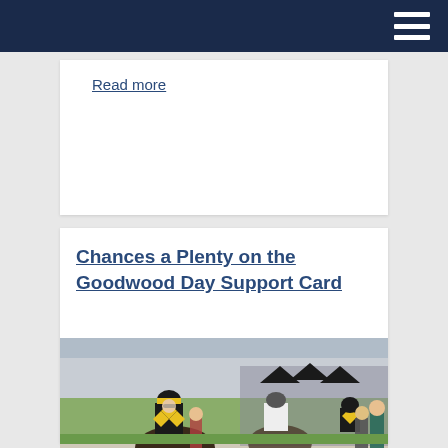Read more
Chances a Plenty on the Goodwood Day Support Card
[Figure (photo): Jockeys on horseback in the parade ring at a horse racing event, with crowds of spectators watching. The lead jockey wears a distinctive black and yellow diamond pattern silks.]
17 May 2018